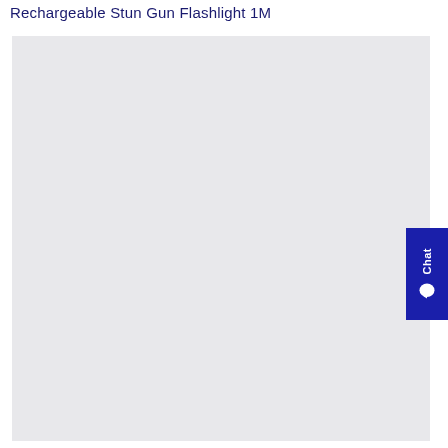Rechargeable Stun Gun Flashlight 1M
[Figure (photo): Large light gray image area showing a product photo placeholder for a Rechargeable Stun Gun Flashlight 1M]
[Figure (screenshot): Blue chat widget button on the right side with vertical text 'Chat' and a speech bubble icon]